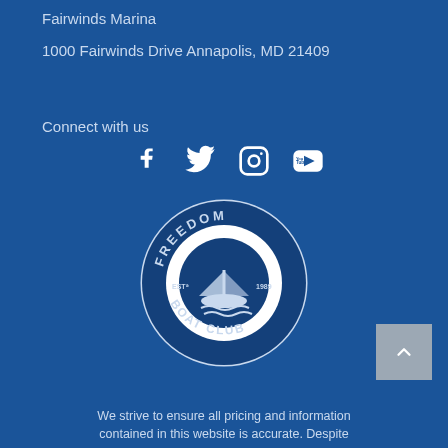Fairwinds Marina
1000 Fairwinds Drive Annapolis, MD 21409
Connect with us
[Figure (logo): Social media icons: Facebook, Twitter, Instagram, YouTube]
[Figure (logo): Freedom Boat Club circular logo, EST 1989]
We strive to ensure all pricing and information contained in this website is accurate. Despite